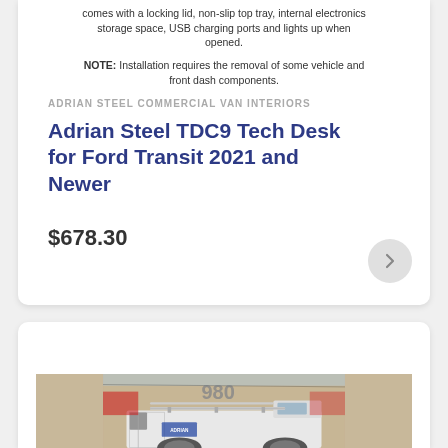comes with a locking lid, non-slip top tray, internal electronics storage space, USB charging ports and lights up when opened.
NOTE: Installation requires the removal of some vehicle and front dash components.
ADRIAN STEEL COMMERCIAL VAN INTERIORS
Adrian Steel TDC9 Tech Desk for Ford Transit 2021 and Newer
$678.30
[Figure (photo): Photo of a white van with roof rack bars parked in front of a building with the number 980, seen from the rear.]